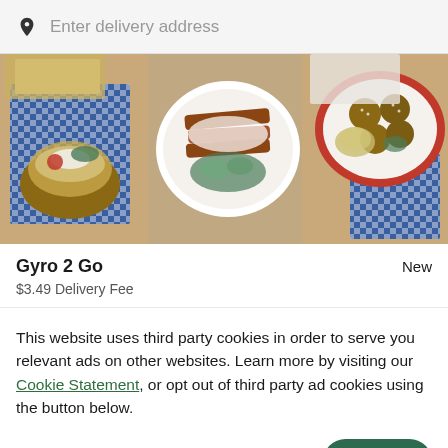Enter delivery address
[Figure (photo): Overhead shot of various Mediterranean/Greek food dishes including gyros, falafel, and sides served on plates and blue checkered paper]
Gyro 2 Go
New
$3.49 Delivery Fee
This website uses third party cookies in order to serve you relevant ads on other websites. Learn more by visiting our Cookie Statement, or opt out of third party ad cookies using the button below.
OPT OUT
GOT IT